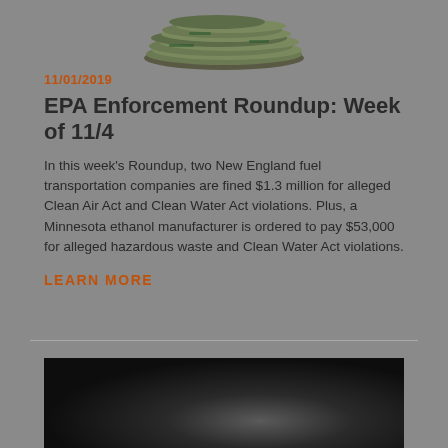[Figure (photo): Pile of US dollar bills (money)]
11/01/2019
EPA Enforcement Roundup: Week of 11/4
In this week's Roundup, two New England fuel transportation companies are fined $1.3 million for alleged Clean Air Act and Clean Water Act violations. Plus, a Minnesota ethanol manufacturer is ordered to pay $53,000 for alleged hazardous waste and Clean Water Act violations.
LEARN MORE
[Figure (photo): Dark abstract image, appears to be a close-up of a dark curved surface or smoke]